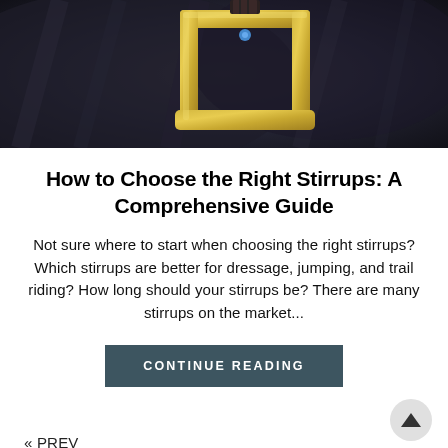[Figure (photo): Close-up photo of a gold/brass stirrup iron against dark horse riding equipment, showing the metallic rectangular frame of the stirrup with dark fabric/leather tack in the background.]
How to Choose the Right Stirrups: A Comprehensive Guide
Not sure where to start when choosing the right stirrups? Which stirrups are better for dressage, jumping, and trail riding? How long should your stirrups be? There are many stirrups on the market...
CONTINUE READING
« PREV